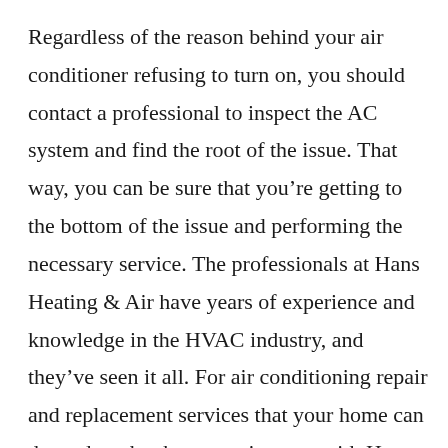Regardless of the reason behind your air conditioner refusing to turn on, you should contact a professional to inspect the AC system and find the root of the issue. That way, you can be sure that you're getting to the bottom of the issue and performing the necessary service. The professionals at Hans Heating & Air have years of experience and knowledge in the HVAC industry, and they've seen it all. For air conditioning repair and replacement services that your home can depend on, book an appointment with Hans today.